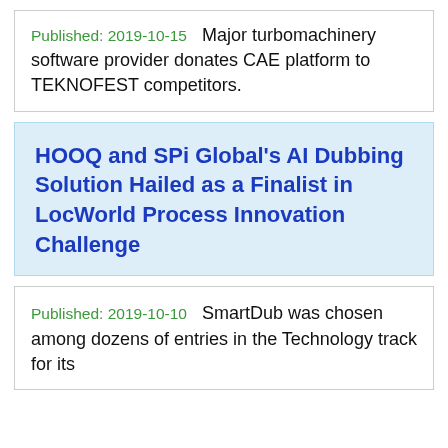Published: 2019-10-15  Major turbomachinery software provider donates CAE platform to TEKNOFEST competitors.
HOOQ and SPi Global's AI Dubbing Solution Hailed as a Finalist in LocWorld Process Innovation Challenge
Published: 2019-10-10  SmartDub was chosen among dozens of entries in the Technology track for its